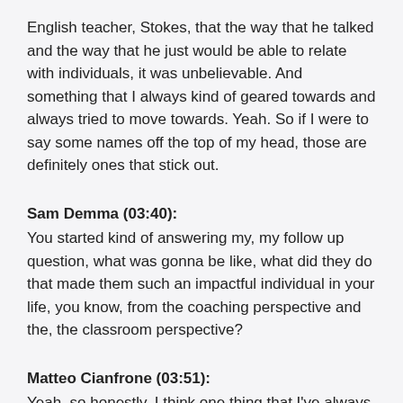English teacher, Stokes, that the way that he talked and the way that he just would be able to relate with individuals, it was unbelievable. And something that I always kind of geared towards and always tried to move towards. Yeah. So if I were to say some names off the top of my head, those are definitely ones that stick out.
Sam Demma (03:40):
You started kind of answering my, my follow up question, what was gonna be like, what did they do that made them such an impactful individual in your life, you know, from the coaching perspective and the, the classroom perspective?
Matteo Cianfrone (03:51):
Yeah, so honestly, I think one thing that I've always tried strived to do in that each of them did in their own a way